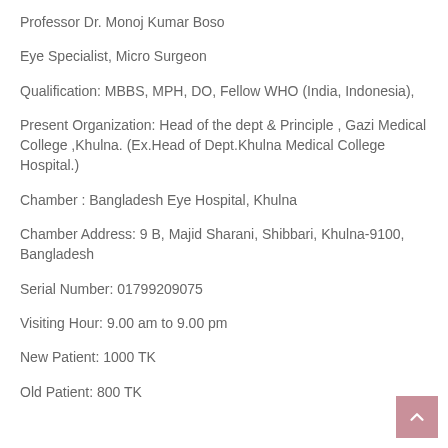Professor Dr. Monoj Kumar Boso
Eye Specialist, Micro Surgeon
Qualification: MBBS, MPH, DO, Fellow WHO (India, Indonesia),
Present Organization: Head of the dept & Principle , Gazi Medical College ,Khulna. (Ex.Head of Dept.Khulna Medical College Hospital.)
Chamber : Bangladesh Eye Hospital, Khulna
Chamber Address: 9 B, Majid Sharani, Shibbari, Khulna-9100, Bangladesh
Serial Number: 01799209075
Visiting Hour: 9.00 am to 9.00 pm
New Patient: 1000 TK
Old Patient: 800 TK